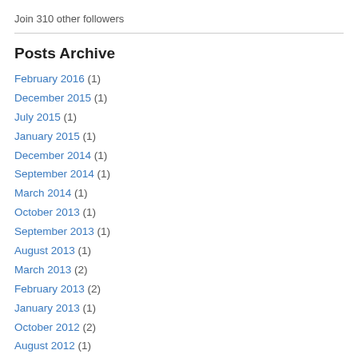Join 310 other followers
Posts Archive
February 2016 (1)
December 2015 (1)
July 2015 (1)
January 2015 (1)
December 2014 (1)
September 2014 (1)
March 2014 (1)
October 2013 (1)
September 2013 (1)
August 2013 (1)
March 2013 (2)
February 2013 (2)
January 2013 (1)
October 2012 (2)
August 2012 (1)